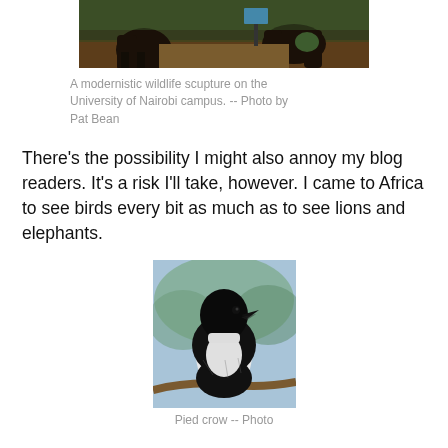[Figure (photo): A modernistic wildlife sculpture on the University of Nairobi campus, showing dark abstract elephant forms]
A modernistic wildlife scupture on the University of Nairobi campus. -- Photo by Pat Bean
There's the possibility I might also annoy my blog readers. It's a risk I'll take, however. I came to Africa to see birds every bit as much as to see lions and elephants.
[Figure (photo): A pied crow perched on a branch, showing black head and white chest, against a blurred background]
Pied crow -- Photo